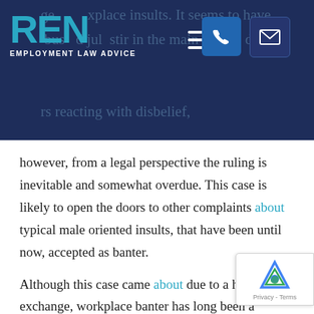REN Employment Law Advice
however, from a legal perspective the ruling is inevitable and somewhat overdue. This case is likely to open the doors to other complaints about typical male oriented insults, that have been until now, accepted as banter.
Although this case came about due to a heated exchange, workplace banter has long been a gauntlet of risk for employers. What seems like horseplay and light-hearted fun can quickly turn into a legal dispute for businesses and therefore is very important to have a clear policy on